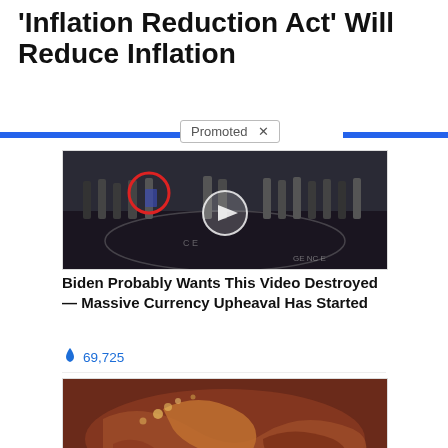'Inflation Reduction Act' Will Reduce Inflation
[Figure (screenshot): Promoted content badge with blue horizontal line divider]
[Figure (photo): Group of men in suits standing in front of CIA logo floor. A man is circled in red in the upper left area. A play button overlay is in the center.]
Biden Probably Wants This Video Destroyed — Massive Currency Upheaval Has Started
🔥 69,725
[Figure (photo): Close-up medical/biological image showing internal organs or tissue, brownish-red tones]
Why Doctors In The Know No Longer Prescribe Metformin
🔥 99,227